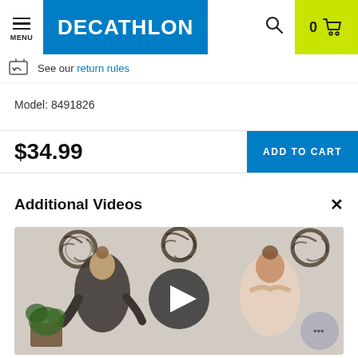DECATHLON — MENU, search, cart (0)
See our return rules
Model: 8491826
$34.99
ADD TO CART
Additional Videos
[Figure (screenshot): Video thumbnail showing two women in a room decorated with round wreaths on the wall, with a large play button overlay in the center.]